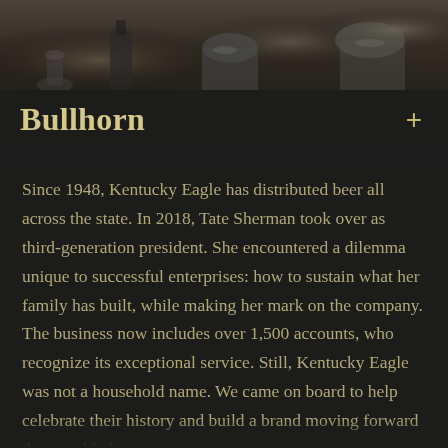[Figure (photo): Dark atmospheric photograph of bar/beverage equipment and glassware on a counter, shown at top of page]
Bullhorn
Since 1948, Kentucky Eagle has distributed beer all across the state. In 2018, Tate Sherman took over as third-generation president. She encountered a dilemma unique to successful enterprises: how to sustain what her family has built, while making her mark on the company. The business now includes over 1,500 accounts, who recognize its exceptional service. Still, Kentucky Eagle was not a household name. We came on board to help celebrate their history and build a brand moving forward that would elevate awareness